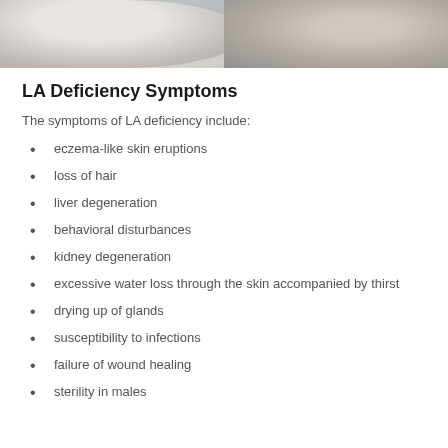[Figure (photo): Partial photo of two people in white clothing, cropped at top of page]
LA Deficiency Symptoms
The symptoms of LA deficiency include:
eczema-like skin eruptions
loss of hair
liver degeneration
behavioral disturbances
kidney degeneration
excessive water loss through the skin accompanied by thirst
drying up of glands
susceptibility to infections
failure of wound healing
sterility in males